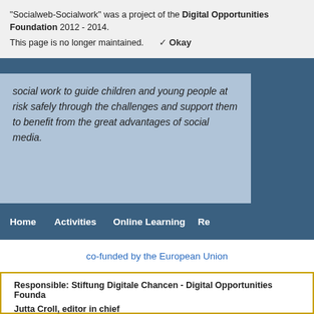"Socialweb-Socialwork" was a project of the Digital Opportunities Foundation 2012 - 2014.
This page is no longer maintained.
✓ Okay
social work to guide children and young people at risk safely through the challenges and support them to benefit from the great advantages of social media.
Home   Activities   Online Learning   Re...
co-funded by the European Union
Responsible: Stiftung Digitale Chancen - Digital Opportunities Founda...
Jutta Croll, editor in chief